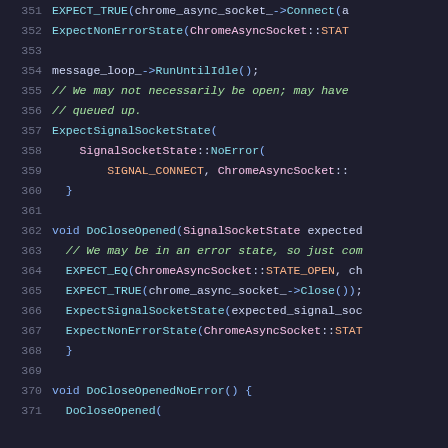[Figure (screenshot): Source code listing lines 351-371 showing C++ test code with syntax highlighting on dark background. Functions include EXPECT_TRUE, ExpectNonErrorState, message_loop_->RunUntilIdle, ExpectSignalSocketState, SignalSocketState::NoError, DoCloseOpened, EXPECT_EQ, EXPECT_TRUE, ExpectSignalSocketState, ExpectNonErrorState, DoCloseOpenedNoError, DoCloseOpened.]